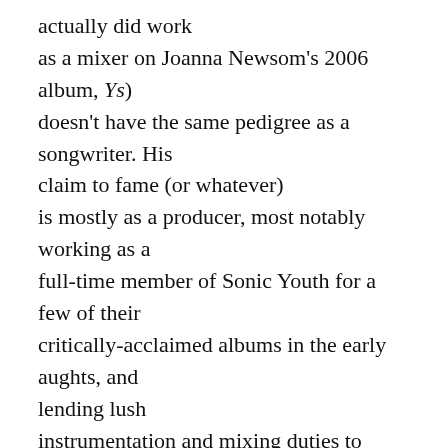actually did work as a mixer on Joanna Newsom's 2006 album, Ys) doesn't have the same pedigree as a songwriter. His claim to fame (or whatever) is mostly as a producer, most notably working as a full-time member of Sonic Youth for a few of their critically-acclaimed albums in the early aughts, and lending lush instrumentation and mixing duties to Wilco's Yankee Hotel Foxtrot. He also has a few solo albums, which stand out with some pretty astounding textures more than for their songcraft.
Which is part of what makes the excellence of Simple Songs really shine through. This is O'Rourke running away from the full-bodied sound that he's perfected in the studio to instead mostly stick to a basic band, led by